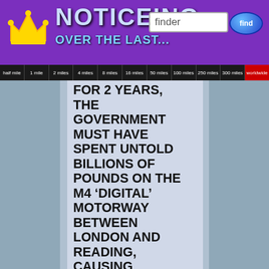NOTICEING OVER THE LAST...
[Figure (logo): Crown icon logo in purple header]
finder
find
half mile | 1 mile | 2 miles | 4 miles | 8 miles | 16 miles | 50 miles | 100 miles | 250 miles | 300 miles | worldwide
FOR 2 YEARS, THE GOVERNMENT MUST HAVE SPENT UNTOLD BILLIONS OF POUNDS ON THE M4 ‘DIGITAL’ MOTORWAY BETWEEN LONDON AND READING, CAUSING ENDLESS DELAYS OVER A 4 YEAR PERIOD AND WITH AN END RUSULT THAT IS CONSIDERABLY